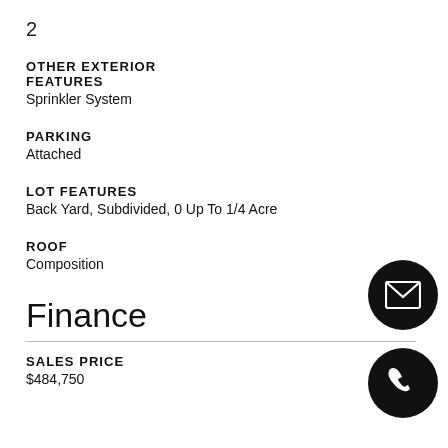2
OTHER EXTERIOR FEATURES
Sprinkler System
PARKING
Attached
LOT FEATURES
Back Yard, Subdivided, 0 Up To 1/4 Acre
ROOF
Composition
Finance
SALES PRICE
$484,750